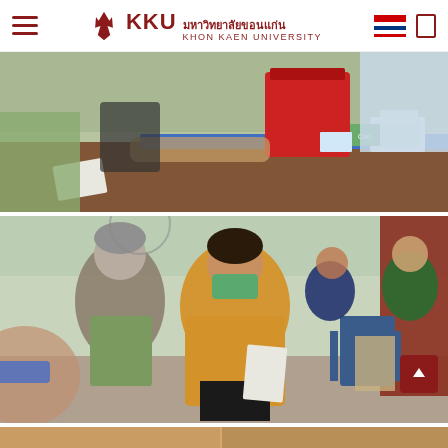KKU - Khon Kaen University header with navigation
[Figure (photo): Close-up photo of an outdoor medical/health screening station with a red cooler box and medical supplies on a table, people sitting around]
[Figure (photo): Photo of a community health outreach event with people seated outdoors; a woman in a yellow shirt and green mask holds papers and talks to an elderly woman; others with masks visible in background]
[Figure (photo): Partial bottom strip of another community event photo]